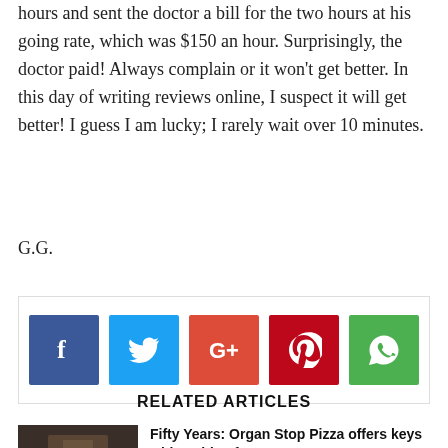hours and sent the doctor a bill for the two hours at his going rate, which was $150 an hour. Surprisingly, the doctor paid! Always complain or it won't get better. In this day of writing reviews online, I suspect it will get better! I guess I am lucky; I rarely wait over 10 minutes.
G.G.
[Figure (infographic): Social share buttons row: Facebook (blue), Twitter (light blue), Google+ (orange-red), Pinterest (dark red), WhatsApp (green)]
RELATED ARTICLES
[Figure (photo): Photo of a person seated near a large pipe organ in a dimly lit restaurant setting]
Fifty Years: Organ Stop Pizza offers keys with a side of...
PHOENIX ARTICLES